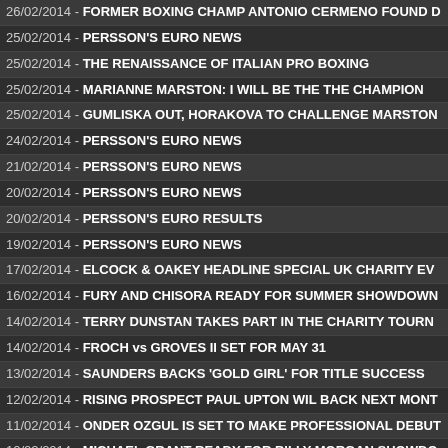26/02/2014 - FORMER BOXING CHAMP ANTONIO CERMENO FOUND D
25/02/2014 - PERSSON'S EURO NEWS
25/02/2014 - THE RENAISSANCE OF ITALIAN PRO BOXING
25/02/2014 - MARIANNE MARSTON: I WILL BE THE THE CHAMPION
25/02/2014 - GUMLISKA OUT, HORAKOVA TO CHALLENGE MARSTON
24/02/2014 - PERSSON'S EURO NEWS
21/02/2014 - PERSSON'S EURO NEWS
20/02/2014 - PERSSON'S EURO NEWS
20/02/2014 - PERSSON'S EURO RESULTS
19/02/2014 - PERSSON'S EURO NEWS
17/02/2014 - ELCOCK & OAKEY HEADLINE SPECIAL UK CHARITY EV
16/02/2014 - FURY AND CHISORA READY FOR SUMMER SHOWDOWN
14/02/2014 - TERRY DUNSTAN TAKES PART IN THE CHARITY TOURN
14/02/2014 - FROCH vs GROVES II SET FOR MAY 31
13/02/2014 - SAUNDERS BACKS 'GOLD GIRL' FOR TITLE SUCCESS
12/02/2014 - RISING PROSPECT PAUL UPTON WIL BACK NEXT MONT
11/02/2014 - ONDER OZGUL IS SET TO MAKE PROFESSIONAL DEBUT
10/02/2014 - MICHAEL GRANT READY FOR BILLY MORGAN SHOWDO
07/02/2014 - PERSSON'S EURO NEWS
07/02/2014 - IAN NAPA TO TAKE PART IN CHARITY BOXING EVENT
07/02/2014 - THE 30 YOUNG BOXERS ON THE RISE IN 2014
06/02/2014 - WORLD BOXING FEDERATION 2013 AWARDS
06/02/2014 - SHIYA OZGUL RETURNS 1ST MARCH IN LONDON
05/02/2014 - PERSSON'S EURO NEWS AND RESULTS
05/02/2014 - BELLEW AND CLEVERLY ARE ON A COLLISION COURSE
05/02/2014 - FREDDIE TURNER GOES FOR GOLD
04/02/2014 - MARSTON VS GUMLISKA FOR INAUGURAL WIILFI...